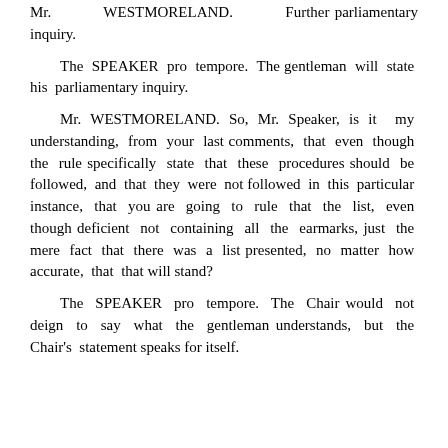Mr. WESTMORELAND. Further parliamentary inquiry.
The SPEAKER pro tempore. The gentleman will state his parliamentary inquiry.
Mr. WESTMORELAND. So, Mr. Speaker, is it my understanding, from your last comments, that even though the rule specifically state that these procedures should be followed, and that they were not followed in this particular instance, that you are going to rule that the list, even though deficient not containing all the earmarks, just the mere fact that there was a list presented, no matter how accurate, that that will stand?
The SPEAKER pro tempore. The Chair would not deign to say what the gentleman understands, but the Chair's statement speaks for itself.